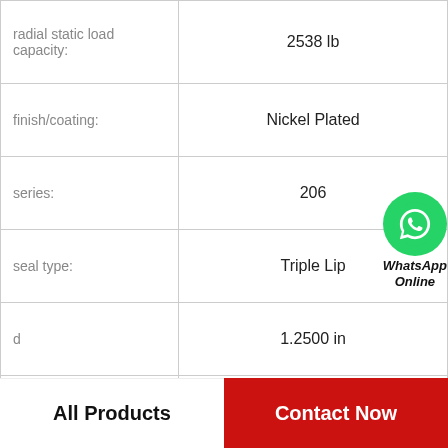| Property | Value |
| --- | --- |
| radial static load capacity: | 2538 lb |
| finish/coating: | Nickel Plated |
| series: | 206 |
| seal type: | Triple Lip |
| d | 1.2500 in |
| bore type: | Round |
| inner ring width: | 39.6 mm |
| outer ring width: | 17.5 |
[Figure (logo): WhatsApp green phone icon with 'WhatsApp Online' text label]
All Products    Contact Now